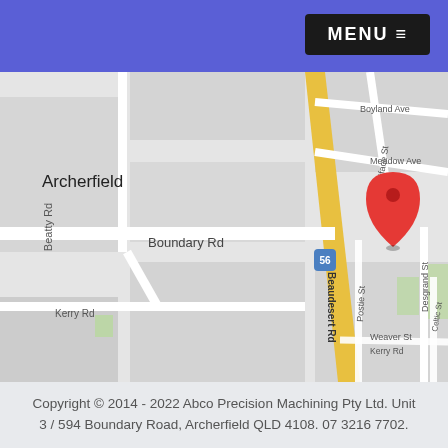MENU
[Figure (map): Google Maps view of Archerfield area showing Boundary Rd with a red location pin, surrounded by streets: Beatty Rd, Kerry Rd, Boniface St, Desgrand St, Beaudesert Rd (Route 56), Postie St, Celtic St, Meadow Ave, Boyland Ave, Weaver St]
Copyright © 2014 - 2022 Abco Precision Machining Pty Ltd. Unit 3 / 594 Boundary Road, Archerfield QLD 4108. 07 3216 7702.